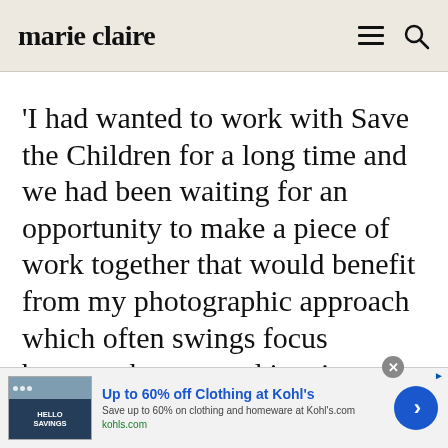marie claire
'I had wanted to work with Save the Children for a long time and we had been waiting for an opportunity to make a piece of work together that would benefit from my photographic approach which often swings focus between human and inanimate subject matter,' Felicity tells marie claire. 'In pairing the images together
[Figure (screenshot): Advertisement banner: Up to 60% off Clothing at Kohl's. Save up to 60% on clothing and homeware at Kohl's.com. kohls.com]